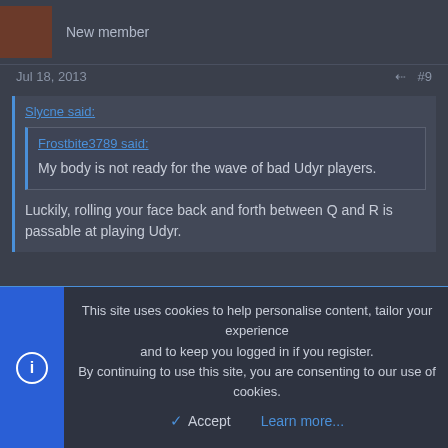New member
Jul 18, 2013  #9
Slycne said:
Frostbite3789 said:
My body is not ready for the wave of bad Udyr players.
Luckily, rolling your face back and forth between Q and R is passable at playing Udyr.
This site uses cookies to help personalise content, tailor your experience and to keep you logged in if you register.
By continuing to use this site, you are consenting to our use of cookies.
Accept
Learn more...